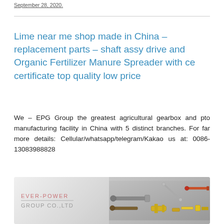September 28, 2020.
Lime near me shop made in China – replacement parts – shaft assy drive and Organic Fertilizer Manure Spreader with ce certificate top quality low price
We – EPG Group the greatest agricultural gearbox and pto manufacturing facility in China with 5 distinct branches. For far more details: Cellular/whatsapp/telegram/Kakao us at: 0086-13083988828
[Figure (photo): Ever-Power Group Co., Ltd banner showing various mechanical parts including shafts, drive components, and fasteners on a gray gradient background]